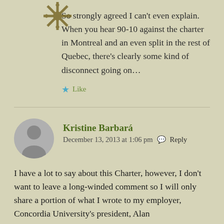[Figure (logo): Decorative snowflake/star logo at top left]
So strongly agreed I can't even explain. When you hear 90-10 against the charter in Montreal and an even split in the rest of Quebec, there's clearly some kind of disconnect going on…
Like
Kristine Barbará
December 13, 2013 at 1:06 pm · Reply
[Figure (photo): Generic user avatar silhouette in grey circle]
I have a lot to say about this Charter, however, I don't want to leave a long-winded comment so I will only share a portion of what I wrote to my employer, Concordia University's president, Alan Shepard. I could be misattributing, but I recently